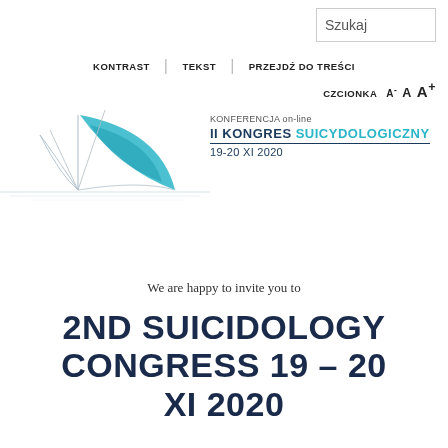Szukaj
KONTRAST | TEKST | PRZEJDŹ DO TREŚCI
CZCIONKA A- A A+
[Figure (illustration): Stylized sketch of a sailing boat with a teal/turquoise curved sail, line art style, forming the banner of the II Kongres Suicydologiczny conference.]
KONFERENCJA on-line II KONGRES SUICYDOLOGICZNY 19-20 XI 2020
We are happy to invite you to
2ND SUICIDOLOGY CONGRESS 19 – 20 XI 2020